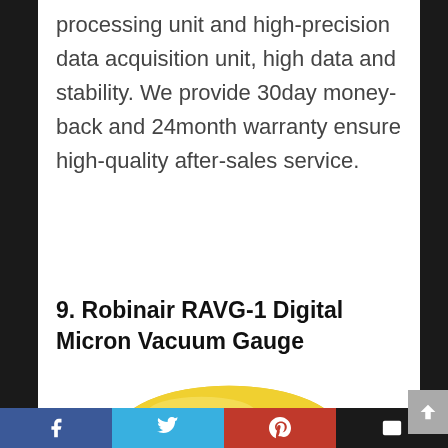processing unit and high-precision data acquisition unit, high data and stability. We provide 30day money-back and 24month warranty ensure high-quality after-sales service.
9. Robinair RAVG-1 Digital Micron Vacuum Gauge
[Figure (photo): Photo of the Robinair RAVG-1 Digital Micron Vacuum Gauge, showing a yellow/gold circular device, partially visible at the bottom of the page.]